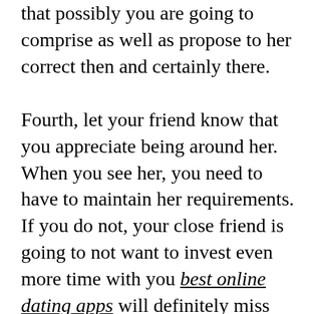that possibly you are going to comprise as well as propose to her correct then and certainly there.
Fourth, let your friend know that you appreciate being around her. When you see her, you need to have to maintain her requirements. If you do not, your close friend is going to not want to invest even more time with you best online dating apps will definitely miss her. Make certain that you make her feeling pleasant around you and her will definitely return the compliment by taking pleasure in costs additional opportunity with you.